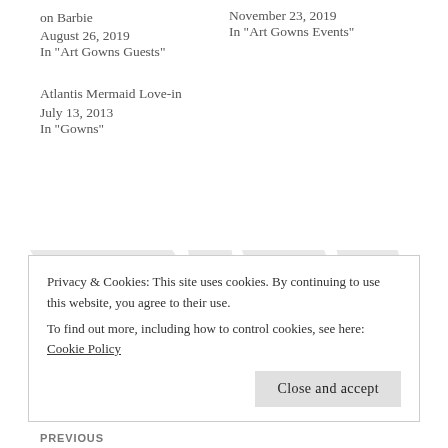on Barbie
August 26, 2019
In "Art Gowns Guests"
November 23, 2019
In "Art Gowns Events"
Atlantis Mermaid Love-in
July 13, 2013
In "Gowns"
#GREENWHITEVIOLET
ART
ART GOWN
ARTIST
BEADS
BRACELET
CANADA
CLOTHING DESIGN
DESIGN
DESIGNER
DIY
DO IT YOURSELF
Privacy & Cookies: This site uses cookies. By continuing to use this website, you agree to their use.
To find out more, including how to control cookies, see here: Cookie Policy
Close and accept
PREVIOUS